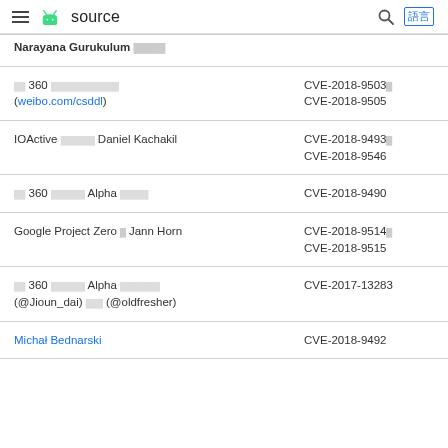source
| Contributor | CVE |
| --- | --- |
| Narayana Gurukulum [tofu] |  |
| [tofu] 360 [tofu] (weibo.com/csddl) | CVE-2018-9503, CVE-2018-9505 |
| IOActive [tofu] Daniel Kachakil | CVE-2018-9493, CVE-2018-9546 |
| [tofu] 360 [tofu] Alpha [tofu] | CVE-2018-9490 |
| Google Project Zero [tofu] Jann Horn | CVE-2018-9514, CVE-2018-9515 |
| [tofu] 360 [tofu] Alpha [tofu] (@Jioun_dai) [tofu] (@oldfresher) | CVE-2017-13283 |
| Michał Bednarski | CVE-2018-9492 |